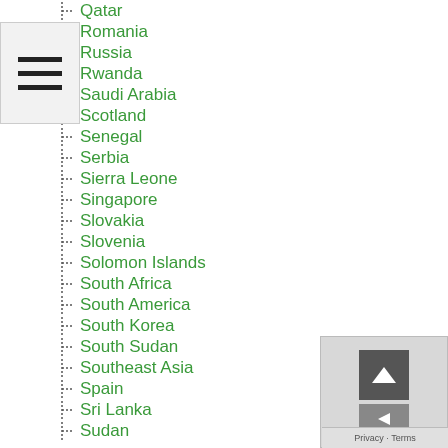Qatar
Romania
Russia
Rwanda
Saudi Arabia
Scotland
Senegal
Serbia
Sierra Leone
Singapore
Slovakia
Slovenia
Solomon Islands
South Africa
South America
South Korea
South Sudan
Southeast Asia
Spain
Sri Lanka
Sudan
Suriname
Swaziland
Sweden